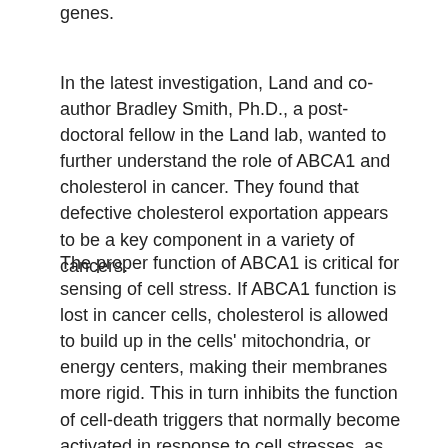genes.
In the latest investigation, Land and co-author Bradley Smith, Ph.D., a post-doctoral fellow in the Land lab, wanted to further understand the role of ABCA1 and cholesterol in cancer. They found that defective cholesterol exportation appears to be a key component in a variety of cancers.
The proper function of ABCA1 is critical for sensing of cell stress. If ABCA1 function is lost in cancer cells, cholesterol is allowed to build up in the cells' mitochondria, or energy centers, making their membranes more rigid. This in turn inhibits the function of cell-death triggers that normally become activated in response to cell stresses, as for example cancer gene activation. Therefore, when functioning properly, ABCA1 has anti-cancer activity – in the sense that by keeping mitochondrial cholesterol low it protects the functioning of cellular stress response systems and acts as a